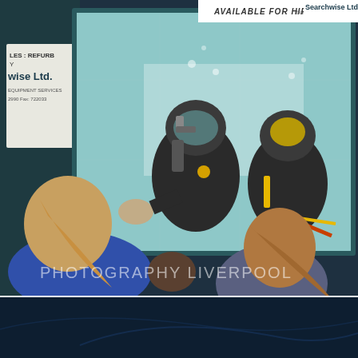[Figure (photo): Photograph of two scuba divers visible through an underwater viewing window, pressing hand against glass, with two children/people watching from the outside. A banner at top reads 'AVAILABLE FOR HIRE from Searchwise Ltd.' A partially visible sign on the left reads 'wise Ltd.' with partial text. A watermark reads 'PHOTOGRAPHY LIVERPOOL' at the bottom left.]
[Figure (photo): Partial dark blue image visible at the bottom of the page, appears to be the beginning of another underwater photograph.]